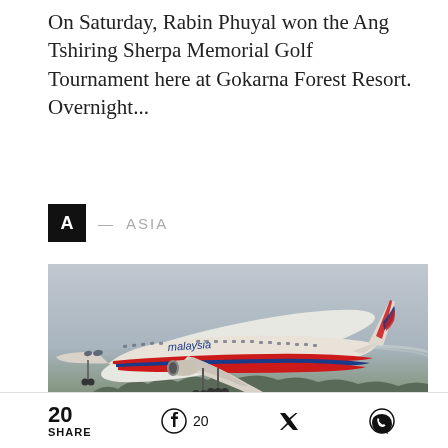On Saturday, Rabin Phuyal won the Ang Tshiring Sherpa Memorial Golf Tournament here at Gokarna Forest Resort. Overnight...
A — ASIA
[Figure (photo): Malaysia Airlines Boeing 777 airplane taking off, showing the aircraft in white livery with red and blue stripes and the Malaysia Airlines logo on the tail]
20 SHARE  20  (Facebook icon)  (Twitter icon)  (WhatsApp icon)